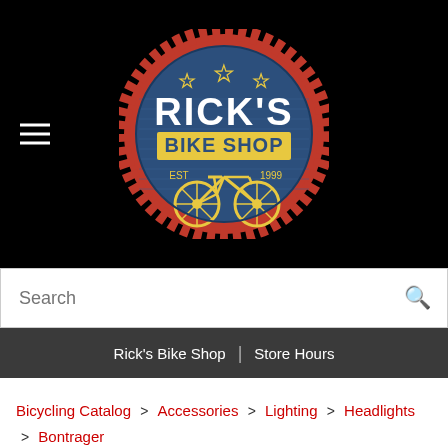[Figure (logo): Rick's Bike Shop circular logo with red gear/sprocket border, blue center, white RICK'S text, yellow BIKE SHOP banner, three stars, EST 1999, and yellow bicycle illustration]
Search
Rick's Bike Shop | Store Hours
Bicycling Catalog > Accessories > Lighting > Headlights > Bontrager
Bontrager